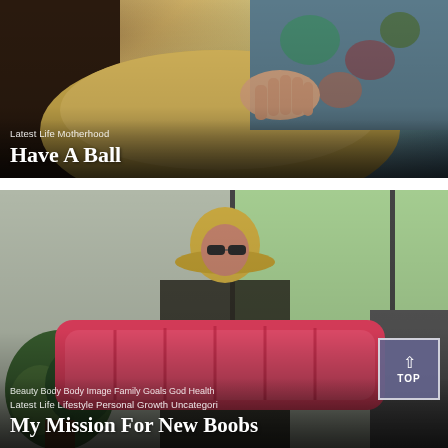[Figure (photo): Close-up photo of hands on a pillow or ball with colorful floral/tropical fabric background. Overlaid text shows category labels and article title.]
Latest Life Motherhood
Have A Ball
[Figure (photo): Photo of a woman in a hat and sunglasses holding a large pink inflatable pool float/mattress, standing indoors near large windows with greenery outside. Overlaid text shows category labels and article title.]
Beauty Body Body Image Family Goals God Health
Latest Life Lifestyle Personal Growth Uncategori...
My Mission For New Boobs